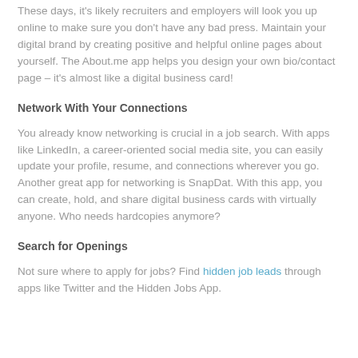These days, it's likely recruiters and employers will look you up online to make sure you don't have any bad press. Maintain your digital brand by creating positive and helpful online pages about yourself. The About.me app helps you design your own bio/contact page – it's almost like a digital business card!
Network With Your Connections
You already know networking is crucial in a job search. With apps like LinkedIn, a career-oriented social media site, you can easily update your profile, resume, and connections wherever you go. Another great app for networking is SnapDat. With this app, you can create, hold, and share digital business cards with virtually anyone. Who needs hardcopies anymore?
Search for Openings
Not sure where to apply for jobs? Find hidden job leads through apps like Twitter and the Hidden Jobs App.